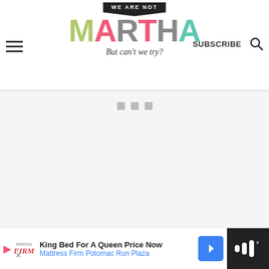WE ARE NOT MARTHA But can't we try? | SUBSCRIBE
[Figure (other): Advertisement placeholder area with three grey dots]
Pop in the oven and bake for an hour until the meringues are dry and no longer glossy.
[Figure (other): What's Next widget showing Eggnog Gingerbread... with thumbnail]
[Figure (other): Bottom advertisement bar: King Bed For A Queen Price Now - Mattress Firm Potomac Run Plaza]